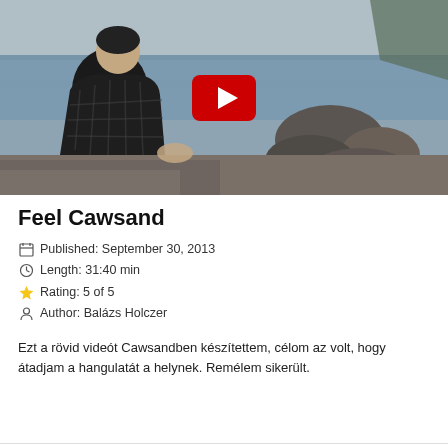[Figure (photo): Video thumbnail showing a man in a plaid hoodie sitting on rocky coastline with sea and rocky cliffs in background, with a YouTube play button overlay in the center]
Feel Cawsand
Published: September 30, 2013
Length: 31:40 min
Rating: 5 of 5
Author: Balázs Holczer
Ezt a rövid videót Cawsandben készítettem, célom az volt, hogy átadjam a hangulatát a helynek. Remélem sikerült.